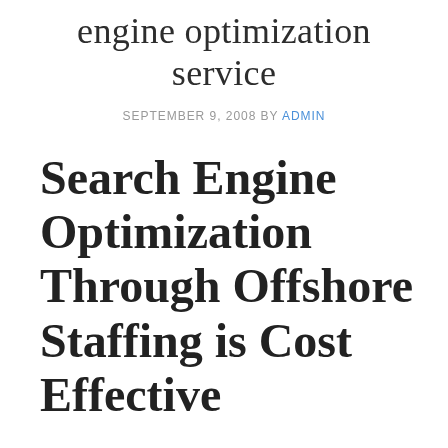engine optimization service
SEPTEMBER 9, 2008 BY ADMIN
Search Engine Optimization Through Offshore Staffing is Cost Effective
What is offshore staffing? In essence, offshore staffing involves hiring staff from